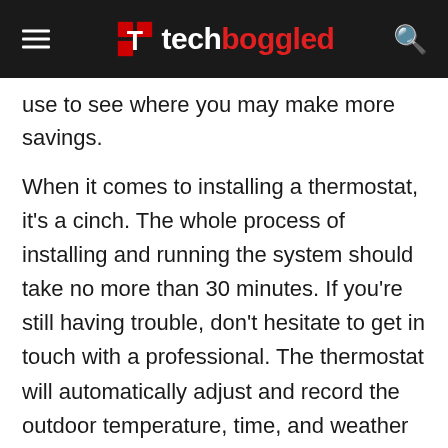techboggled
use to see where you may make more savings.
When it comes to installing a thermostat, it’s a cinch. The whole process of installing and running the system should take no more than 30 minutes. If you’re still having trouble, don’t hesitate to get in touch with a professional. The thermostat will automatically adjust and record the outdoor temperature, time, and weather for you to view. Overall, this is one of the greatest thermostats on the market today.
Emerson Sensi Wi-Fi Smart Thermostat
Everyone aspires to live in a peaceful and